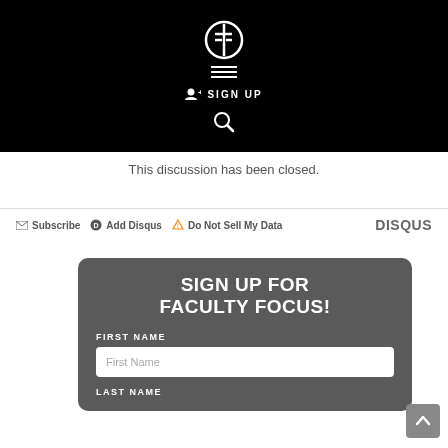[Figure (logo): Faculty Focus logo (FF icon) in white on black header bar with hamburger menu, sign up link, and search icon]
This discussion has been closed.
Subscribe  Add Disqus  Do Not Sell My Data  DISQUS
[Figure (screenshot): Sign up for Faculty Focus form card with First Name and Last Name fields on dark grey rounded background]
SIGN UP FOR FACULTY FOCUS!
FIRST NAME
LAST NAME